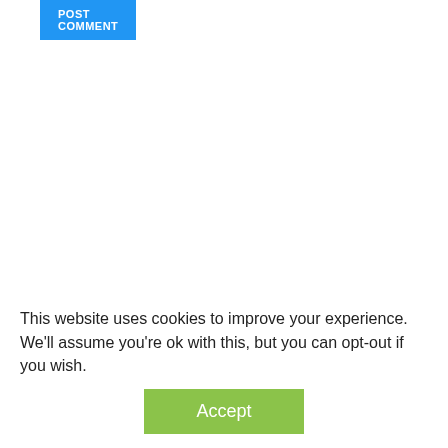POST COMMENT
CATEGORIES
GAME NEWS
PC GAMES
PS4
SWITCH
This website uses cookies to improve your experience. We'll assume you're ok with this, but you can opt-out if you wish.
Accept